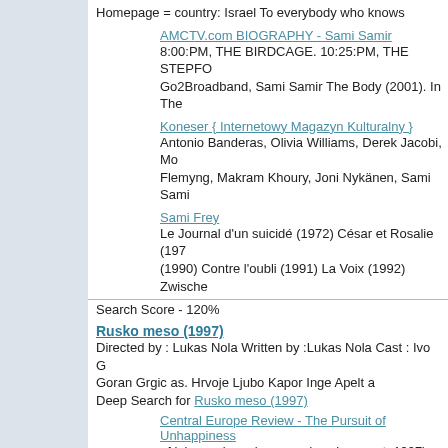Homepage = country: Israel To everybody who knows
AMCTV.com BIOGRAPHY - Sami Samir
8:00:PM, THE BIRDCAGE. 10:25:PM, THE STEPFO Go2Broadband, Sami Samir The Body (2001). In The
Koneser { Internetowy Magazyn Kulturalny }
Antonio Banderas, Olivia Williams, Derek Jacobi, Mo Flemyng, Makram Khoury, Joni Nykänen, Sami Sami
Sami Frey
Le Journal d'un suicidé (1972) César et Rosalie (197 (1990) Contre l'oubli (1991) La Voix (1992) Zwische
Search Score - 120%
Rusko meso (1997)
Directed by : Lukas Nola Written by :Lukas Nola Cast : Ivo G Goran Grgic as. Hrvoje Ljubo Kapor Inge Apelt a
Deep Search for Rusko meso (1997)
Central Europe Review - The Pursuit of Unhappiness of lukas nola rusko meso (russian meat, 1997) as abe white, this rebel film (with the subtitle "new movie, sa
Search Score - 79%
Nola (2002)
directed by : alan hruska written by :alan hruska released :m mcdonnell as. margaret steven bauer as.
Deep Search for Nola (2002)
email from NOLA